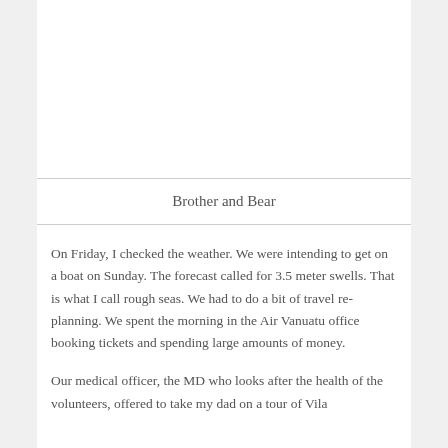Brother and Bear
On Friday, I checked the weather.  We were intending to get on a boat on Sunday.  The forecast called for 3.5 meter swells.  That is what I call rough seas.  We had to do a bit of travel re-planning.  We spent the morning in the Air Vanuatu office booking tickets and spending large amounts of money.
Our medical officer, the MD who looks after the health of the volunteers, offered to take my dad on a tour of Vila